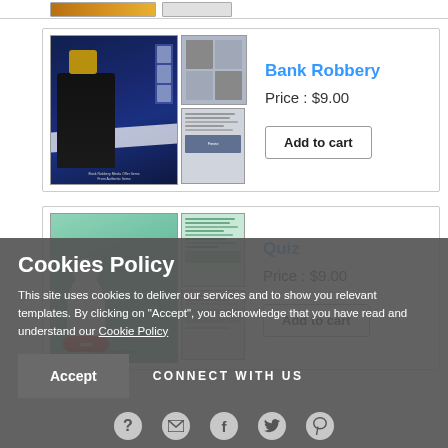[Figure (screenshot): Partial product thumbnail from previous listing - orange/gold colored template cover and gray preview]
Bank Robbery
Price : $9.00
[Figure (screenshot): Bank Robbery product template showing man in black carrying bag in dark blue bank setting, with page preview thumbnails]
Add to cart
Quiz
Price : $9.00
[Figure (screenshot): Quiz product template showing 3D white figure pressing a red quiz button on green background, with page preview thumbnails]
Add to cart
Cookies Policy
This site uses cookies to deliver our services and to show you relevant templates. By clicking on "Accept", you acknowledge that you have read and understand our Cookie Policy
Accept
CONNECT WITH US